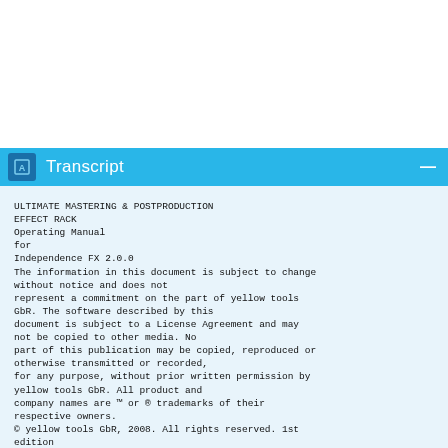Transcript
ULTIMATE MASTERING & POSTPRODUCTION
EFFECT RACK
Operating Manual
for
Independence FX 2.0.0
The information in this document is subject to change without notice and does not represent a commitment on the part of yellow tools GbR. The software described by this document is subject to a License Agreement and may not be copied to other media. No part of this publication may be copied, reproduced or otherwise transmitted or recorded, for any purpose, without prior written permission by yellow tools GbR. All product and company names are ™ or ® trademarks of their respective owners.
© yellow tools GbR, 2008. All rights reserved. 1st edition